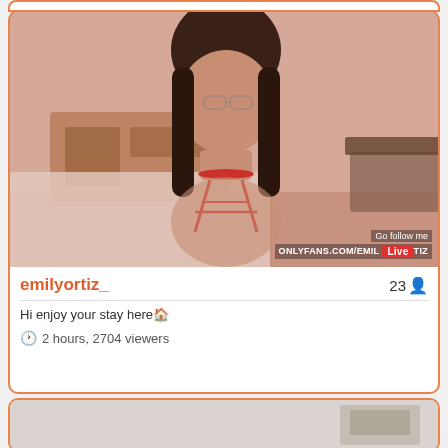[Figure (screenshot): Live stream thumbnail showing a young woman with long dark hair and glasses wearing red lingerie, sitting on a bed. Watermark reads 'Go follow me' and 'ONLYFANS.COM/EMILORTIZ' with a 'Live' badge.]
emilyortiz_
23
Hi enjoy your stay here🏠
2 hours, 2704 viewers
[Figure (screenshot): Partial thumbnail of another live stream at the bottom of the page.]